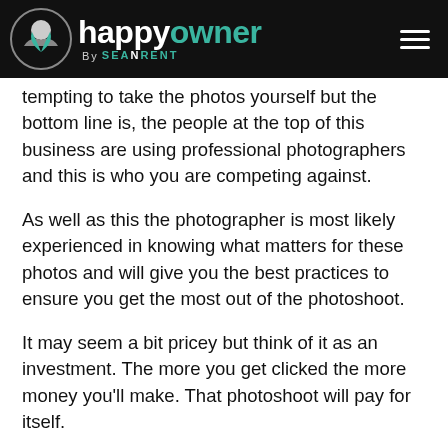happyowner By SEANRENT
tempting to take the photos yourself but the bottom line is, the people at the top of this business are using professional photographers and this is who you are competing against.
As well as this the photographer is most likely experienced in knowing what matters for these photos and will give you the best practices to ensure you get the most out of the photoshoot.
It may seem a bit pricey but think of it as an investment. The more you get clicked the more money you'll make. That photoshoot will pay for itself.
Think outside of the box. While your apartment may be lovely and special, ultimately it's not the only reason why people are coming to stay at your property. Make sure to get photos of the local area